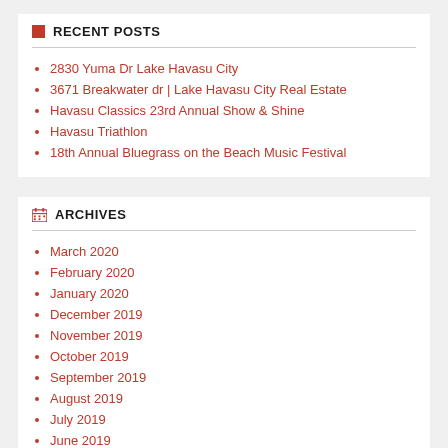RECENT POSTS
2830 Yuma Dr Lake Havasu City
3671 Breakwater dr | Lake Havasu City Real Estate
Havasu Classics 23rd Annual Show & Shine
Havasu Triathlon
18th Annual Bluegrass on the Beach Music Festival
ARCHIVES
March 2020
February 2020
January 2020
December 2019
November 2019
October 2019
September 2019
August 2019
July 2019
June 2019